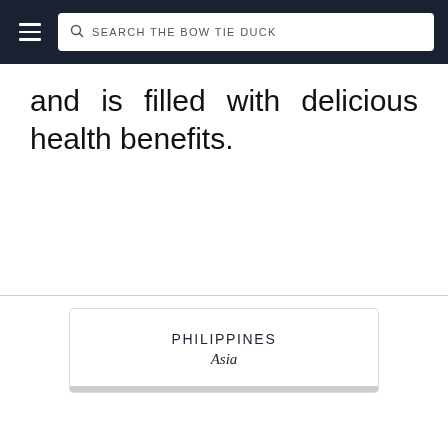SEARCH THE BOW TIE DUCK
and is filled with delicious health benefits.
PHILIPPINES
Asia